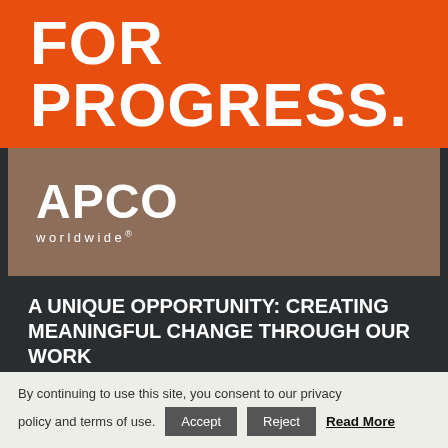FOR PROGRESS.
[Figure (logo): APCO Worldwide logo — white text 'APCO' large bold and 'worldwide®' below in small tracking, on a brownish background band]
A UNIQUE OPPORTUNITY: CREATING MEANINGFUL CHANGE THROUGH OUR WORK
ELIZABETH DUNCAN-WATT & ELLE ARLOOK & TRACY MATHEWS
By continuing to use this site, you consent to our privacy policy and terms of use. Accept  Reject  Read More